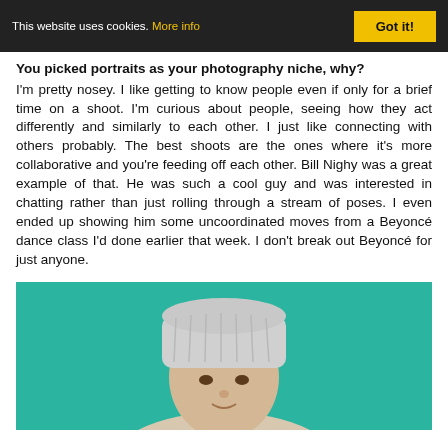This website uses cookies. More info | Got it!
You picked portraits as your photography niche, why?
I'm pretty nosey. I like getting to know people even if only for a brief time on a shoot. I'm curious about people, seeing how they act differently and similarly to each other. I just like connecting with others probably. The best shoots are the ones where it's more collaborative and you're feeding off each other. Bill Nighy was a great example of that. He was such a cool guy and was interested in chatting rather than just rolling through a stream of poses. I even ended up showing him some uncoordinated moves from a Beyoncé dance class I'd done earlier that week. I don't break out Beyoncé for just anyone.
[Figure (photo): Portrait photo of a person wearing a white/grey knit beanie hat against a teal/turquoise background]